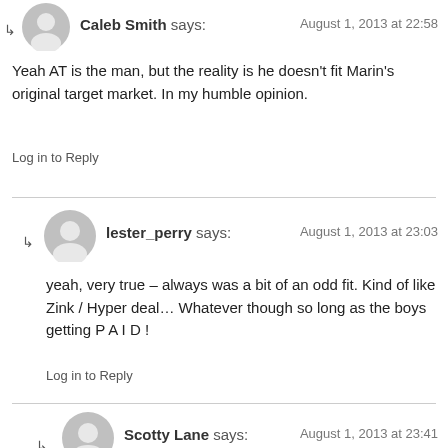Caleb Smith says: August 1, 2013 at 22:58
Yeah AT is the man, but the reality is he doesn't fit Marin's original target market. In my humble opinion.
Log in to Reply
lester_perry says: August 1, 2013 at 23:03
yeah, very true – always was a bit of an odd fit. Kind of like Zink / Hyper deal… Whatever though so long as the boys getting P A I D !
Log in to Reply
Scotty Lane says: August 1, 2013 at 23:41
Shandro rode for Marin mofos! and Streb!